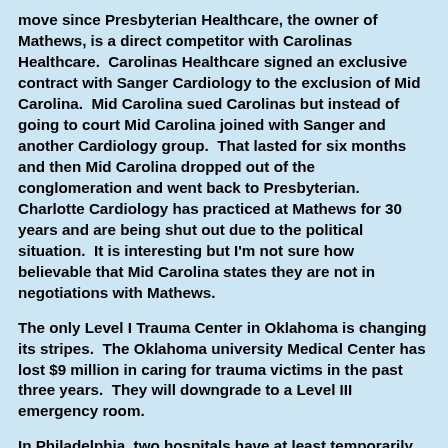move since Presbyterian Healthcare, the owner of Mathews, is a direct competitor with Carolinas Healthcare.  Carolinas Healthcare signed an exclusive contract with Sanger Cardiology to the exclusion of Mid Carolina.  Mid Carolina sued Carolinas but instead of going to court Mid Carolina joined with Sanger and another Cardiology group.  That lasted for six months and then Mid Carolina dropped out of the conglomeration and went back to Presbyterian.  Charlotte Cardiology has practiced at Mathews for 30 years and are being shut out due to the political situation.  It is interesting but I'm not sure how believable that Mid Carolina states they are not in negotiations with Mathews.
The only Level I Trauma Center in Oklahoma is changing its stripes.  The Oklahoma university Medical Center has lost $9 million in caring for trauma victims in the past three years.  They will downgrade to a Level III emergency room.
In Philadelphia, two hospitals have at least temporarily closed their trauma centers.  The reason for one was a nursing strike and for another a lack of surgeons.  There are nine other trauma centers in